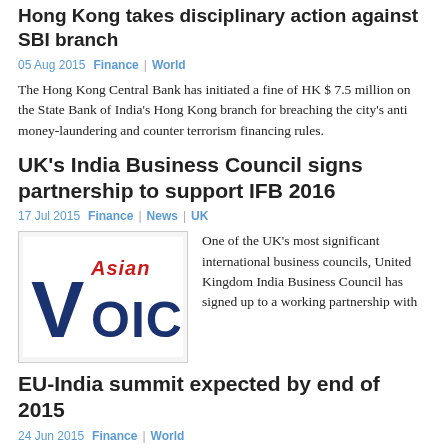Hong Kong takes disciplinary action against SBI branch
05 Aug 2015  Finance | World
The Hong Kong Central Bank has initiated a fine of HK $ 7.5 million on the State Bank of India's Hong Kong branch for breaching the city's anti money-laundering and counter terrorism financing rules.
UK's India Business Council signs partnership to support IFB 2016
17 Jul 2015  Finance | News | UK
[Figure (logo): Asian Voice newspaper logo with large V and stylized text]
One of the UK's most significant international business councils, United Kingdom India Business Council has signed up to a working partnership with
EU-India summit expected by end of 2015
24 Jun 2015  Finance | World
The much anticipated EU-India Summit is likely to be held by the end of the year, probably in November, according to EU and Indian officials.